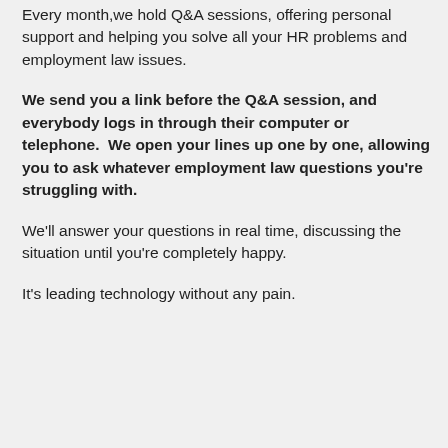Every month,we hold Q&A sessions, offering personal support and helping you solve all your HR problems and employment law issues.
We send you a link before the Q&A session, and everybody logs in through their computer or telephone.  We open your lines up one by one, allowing you to ask whatever employment law questions you're struggling with.
We'll answer your questions in real time, discussing the situation until you're completely happy.
It's leading technology without any pain.